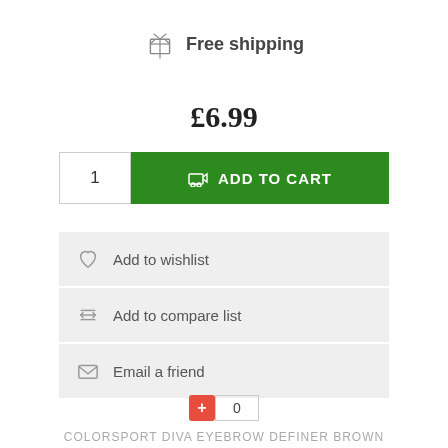Free shipping
£6.99
1  ADD TO CART
Add to wishlist
Add to compare list
Email a friend
+ 0
COLORSPORT DIVA EYEBROW DEFINER BROWN